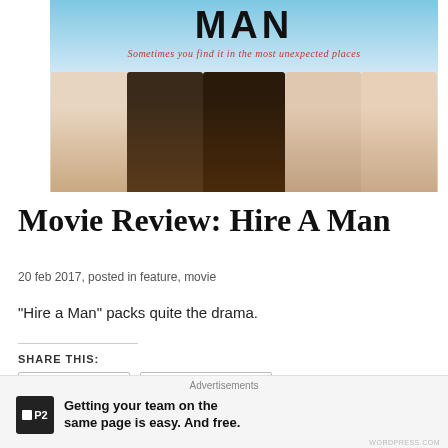[Figure (photo): Movie poster for 'Hire A Man' showing five people (cast) smiling and posing with the title 'MAN' in large letters and tagline 'Sometimes you find it in the most unexpected places']
Movie Review: Hire A Man
20 feb 2017, posted in feature, movie
“Hire a Man” packs quite the drama.
SHARE THIS:
Advertisements
Getting your team on the same page is easy. And free.